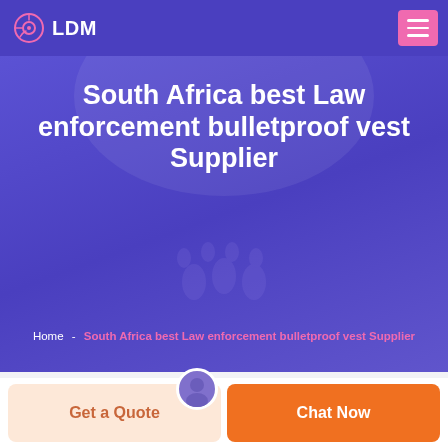LDM
South Africa best Law enforcement bulletproof vest Supplier
Home - South Africa best Law enforcement bulletproof vest Supplier
Get a Quote
Chat Now